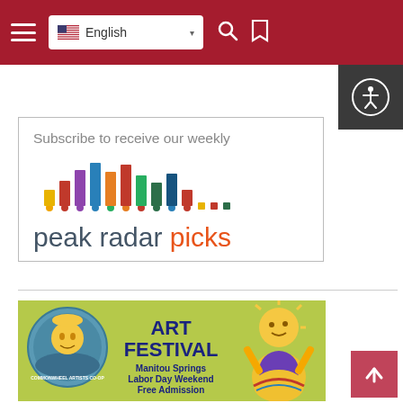Navigation bar with hamburger menu, English language selector, search and bookmark icons
[Figure (screenshot): Accessibility button with person icon on dark background, top right]
[Figure (logo): Peak Radar Picks subscribe banner with colorful bar chart logo. Text: Subscribe to receive our weekly peak radar picks]
[Figure (illustration): Commonwheel Artists Co-op Art Festival advertisement. Manitou Springs Labor Day Weekend Free Admission. Colorful illustration with sun character and decorative egg figure.]